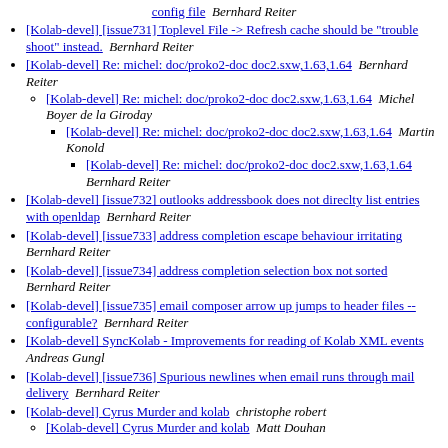config file  Bernhard Reiter
[Kolab-devel] [issue731] Toplevel File -> Refresh cache should be "trouble shoot" instead.  Bernhard Reiter
[Kolab-devel] Re: michel: doc/proko2-doc doc2.sxw,1.63,1.64  Bernhard Reiter
[Kolab-devel] Re: michel: doc/proko2-doc doc2.sxw,1.63,1.64  Michel Boyer de la Giroday
[Kolab-devel] Re: michel: doc/proko2-doc doc2.sxw,1.63,1.64  Martin Konold
[Kolab-devel] Re: michel: doc/proko2-doc doc2.sxw,1.63,1.64  Bernhard Reiter
[Kolab-devel] [issue732] outlooks addressbook does not direclty list entries with openldap  Bernhard Reiter
[Kolab-devel] [issue733] address completion escape behaviour irritating  Bernhard Reiter
[Kolab-devel] [issue734] address completion selection box not sorted  Bernhard Reiter
[Kolab-devel] [issue735] email composer arrow up jumps to header files -- configurable?  Bernhard Reiter
[Kolab-devel] SyncKolab - Improvements for reading of Kolab XML events  Andreas Gungl
[Kolab-devel] [issue736] Spurious newlines when email runs through mail delivery  Bernhard Reiter
[Kolab-devel] Cyrus Murder and kolab  christophe robert
[Kolab-devel] Cyrus Murder and kolab  Matt Douhan